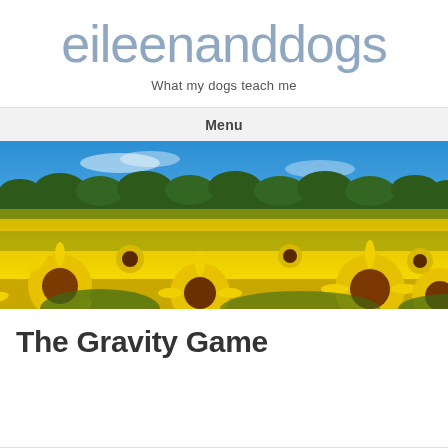eileenanddogs
What my dogs teach me
Menu
[Figure (photo): Wide panoramic photograph of a sunflower field in full bloom under a bright blue sky, with a treeline visible in the background. Rows of yellow sunflowers with brown centers fill the foreground.]
The Gravity Game